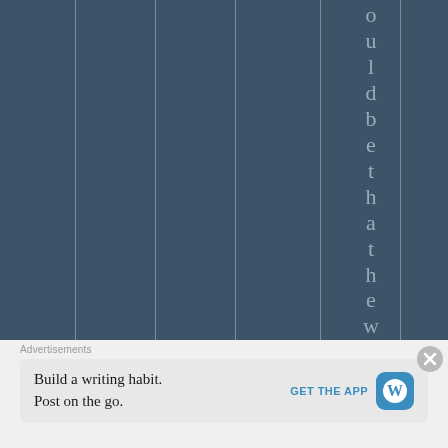[Figure (other): Dark blue-gray background with vertical column divider lines and vertically arranged letters spelling 'ould be that he w' running top to bottom on the right portion of the image, suggesting a cropped/scrolled text display.]
Advertisements
[Figure (other): Advertisement banner: 'Build a writing habit. Post on the go.' with GET THE APP button and WordPress logo icon, and a close (X) button.]